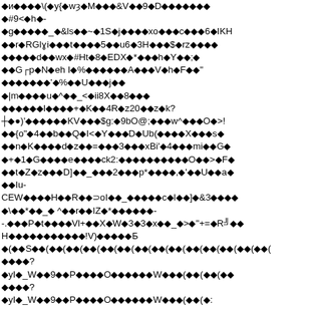Corrupted/encoded binary text content with diamond replacement characters throughout the page — appears to be a garbled binary or encoding artifact document page.